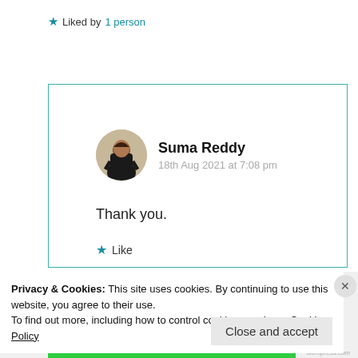★ Liked by 1 person
Log in to Reply
Suma Reddy
18th Aug 2021 at 7:08 pm
Thank you.
★ Like
Privacy & Cookies: This site uses cookies. By continuing to use this website, you agree to their use.
To find out more, including how to control cookies, see here: Cookie Policy
Close and accept